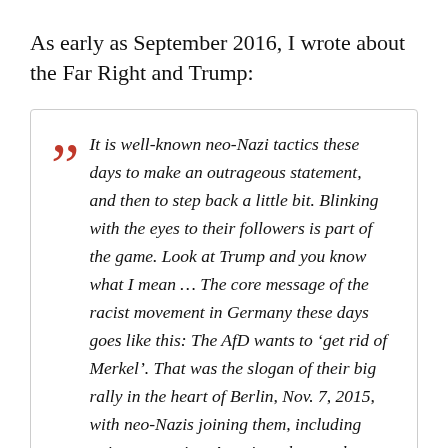As early as September 2016, I wrote about the Far Right and Trump:
It is well-known neo-Nazi tactics these days to make an outrageous statement, and then to step back a little bit. Blinking with the eyes to their followers is part of the game. Look at Trump and you know what I mean … The core message of the racist movement in Germany these days goes like this: The AfD wants to ‘get rid of Merkel’. That was the slogan of their big rally in the heart of Berlin, Nov. 7, 2015, with neo-Nazis joining them, including agitators against America who say that ‘Germany is run by NSA’ and